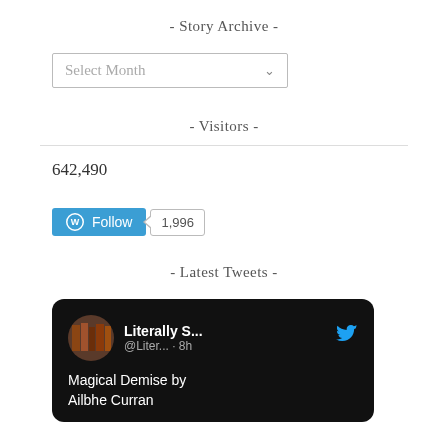- Story Archive -
Select Month
- Visitors -
642,490
[Figure (other): WordPress Follow button with follower count of 1,996]
- Latest Tweets -
[Figure (screenshot): Twitter/X card showing Literally S... @Liter... · 8h with text 'Magical Demise by Ailbhe Curran']